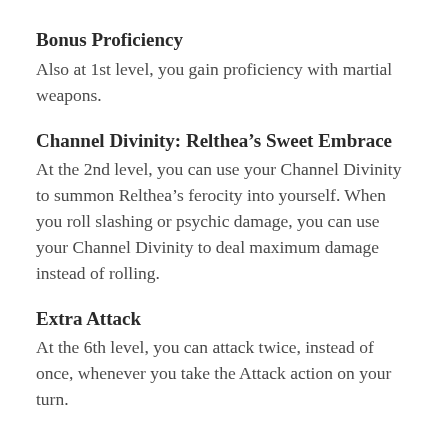Bonus Proficiency
Also at 1st level, you gain proficiency with martial weapons.
Channel Divinity: Relthea’s Sweet Embrace
At the 2nd level, you can use your Channel Divinity to summon Relthea’s ferocity into yourself. When you roll slashing or psychic damage, you can use your Channel Divinity to deal maximum damage instead of rolling.
Extra Attack
At the 6th level, you can attack twice, instead of once, whenever you take the Attack action on your turn.